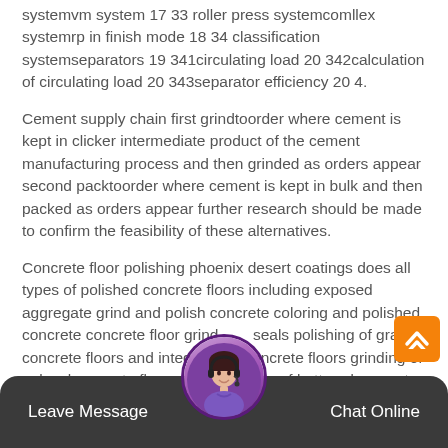systemvm system 17 33 roller press systemcomllex systemrp in finish mode 18 34 classification systemseparators 19 341circulating load 20 342calculation of circulating load 20 343separator efficiency 20 4.
Cement supply chain first grindtoorder where cement is kept in clicker intermediate product of the cement manufacturing process and then grinded as orders appear second packtoorder where cement is kept in bulk and then packed as orders appear further research should be made to confirm the feasibility of these alternatives.
Concrete floor polishing phoenix desert coatings does all types of polished concrete floors including exposed aggregate grind and polish concrete coloring and polished concrete concrete floor grind and seals polishing of gray concrete floors and integrated concrete floors grinding of unlevel concrete floors and grinding of battered concrete
[Figure (illustration): Customer service avatar: a woman wearing a headset, with a purple circular background, positioned at the bottom center of the page overlapping the dark bottom bar.]
Leave Message   Chat Online